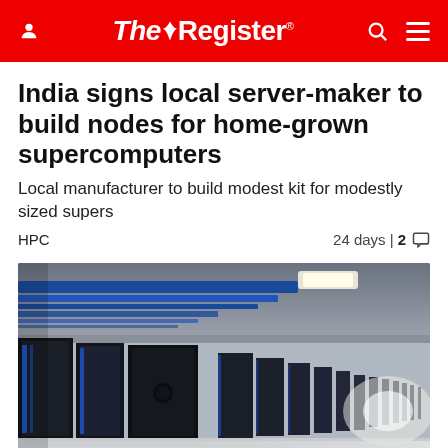The Register
India signs local server-maker to build nodes for home-grown supercomputers
Local manufacturer to build modest kit for modestly sized supers
HPC   24 days | 2 comments
[Figure (photo): Interior of a large data center with rows of black server racks extending into the distance under blue overhead cable trays and bright ceiling lights, with a reflective white floor.]